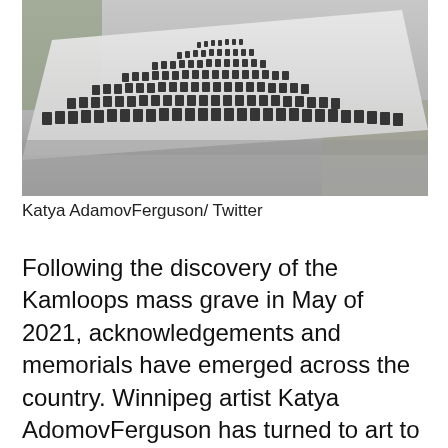[Figure (photo): Black and white photograph of an artwork or memorial installation. It appears to show rows of small figures or marks arranged in a triangular/pyramidal pattern on a flat surface, resembling a mass grave or memorial. The image is monochrome with a blurred background.]
Katya AdamovFerguson/ Twitter
Following the discovery of the Kamloops mass grave in May of 2021, acknowledgements and memorials have emerged across the country. Winnipeg artist Katya AdomovFerguson has turned to art to help grieve as well as begin a conversation. She sifted soil